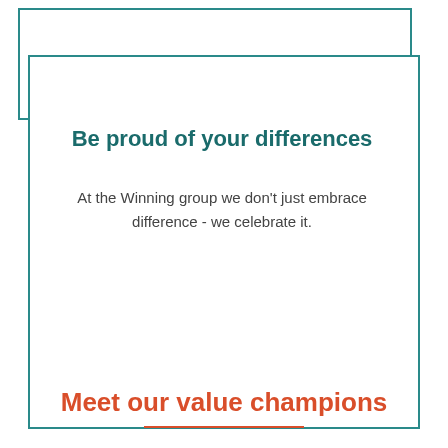Be proud of your differences
At the Winning group we don't just embrace difference - we celebrate it.
Meet our value champions